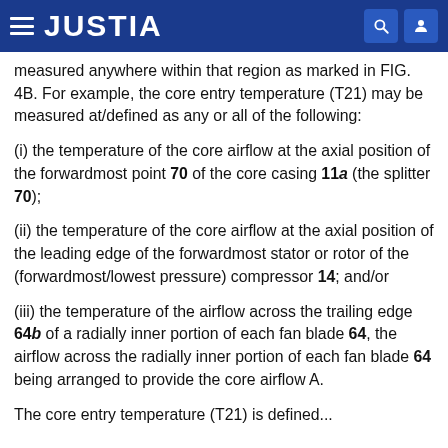JUSTIA
measured anywhere within that region as marked in FIG. 4B. For example, the core entry temperature (T21) may be measured at/defined as any or all of the following:
(i) the temperature of the core airflow at the axial position of the forwardmost point 70 of the core casing 11a (the splitter 70);
(ii) the temperature of the core airflow at the axial position of the leading edge of the forwardmost stator or rotor of the (forwardmost/lowest pressure) compressor 14; and/or
(iii) the temperature of the airflow across the trailing edge 64b of a radially inner portion of each fan blade 64, the airflow across the radially inner portion of each fan blade 64 being arranged to provide the core airflow A.
The core entry temperature (T21) is defined...